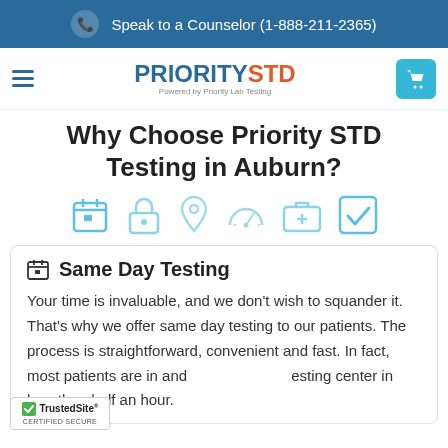Speak to a Counselor (1-888-211-2365)
[Figure (logo): PrioritySTD logo — PRIORITY in blue, STD in orange, 'Powered by Priority Lab Testing' subtitle]
Why Choose Priority STD Testing in Auburn?
[Figure (infographic): Row of six light-blue icons: calendar, lock/privacy, location pin, speedometer, medical kit, checkmark]
Same Day Testing
Your time is invaluable, and we don't wish to squander it. That's why we offer same day testing to our patients. The process is straightforward, convenient and fast. In fact, most patients are in and out of the testing center in less than half an hour.